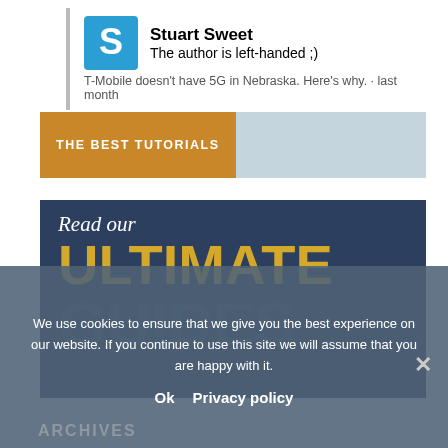Stuart Sweet
The author is left-handed ;)
T-Mobile doesn't have 5G in Nebraska. Here's why. · last month
[Figure (infographic): THE BEST TUTORIALS banner with orange left block and light blue right block]
[Figure (infographic): Read our ULTIMATE GUIDES banner with dark navy background, white italic 'Read our', large gold 'ULTIMATE' text, and large dark 'GUIDES' text partially visible]
We use cookies to ensure that we give you the best experience on our website. If you continue to use this site we will assume that you are happy with it.
Ok  Privacy policy